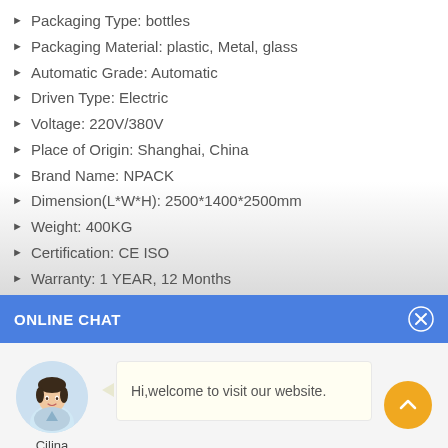Packaging Type: bottles
Packaging Material: plastic, Metal, glass
Automatic Grade: Automatic
Driven Type: Electric
Voltage: 220V/380V
Place of Origin: Shanghai, China
Brand Name: NPACK
Dimension(L*W*H): 2500*1400*2500mm
Weight: 400KG
Certification: CE ISO
Warranty: 1 YEAR, 12 Months
After-sales Service Provided: Online support, Video technical su…
ONLINE CHAT
[Figure (photo): Chat agent avatar photo of a woman named Cilina]
Cilina
Hi,welcome to visit our website.